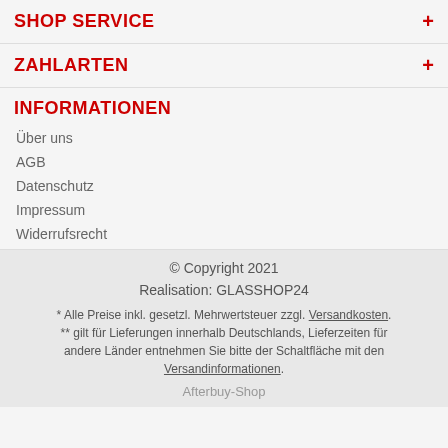SHOP SERVICE
ZAHLARTEN
INFORMATIONEN
Über uns
AGB
Datenschutz
Impressum
Widerrufsrecht
© Copyright 2021
Realisation: GLASSHOP24
* Alle Preise inkl. gesetzl. Mehrwertsteuer zzgl. Versandkosten.
** gilt für Lieferungen innerhalb Deutschlands, Lieferzeiten für andere Länder entnehmen Sie bitte der Schaltfläche mit den Versandinformationen.
Afterbuy-Shop